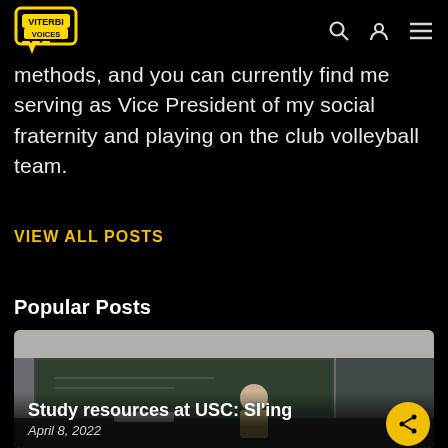Viterbi Voices
methods, and you can currently find me serving as Vice President of my social fraternity and playing on the club volleyball team.
VIEW ALL POSTS
Popular Posts
[Figure (photo): Classroom photo showing a person standing at the front near a chalkboard, wearing a mask. Overlaid with post title 'Study resources at USC: SI'ing' and date 'April 8, 2022'.]